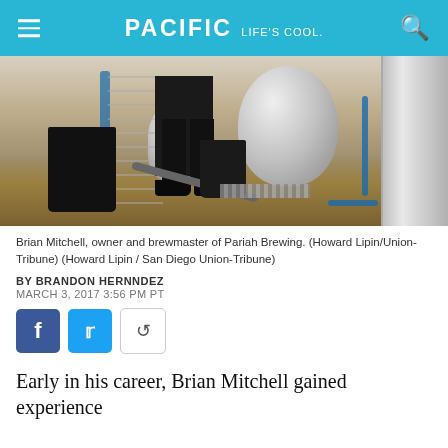PACIFIC Life's cool
[Figure (photo): Person working in a brewery, standing at brewing equipment with stainless steel tanks, hoses, and a black bucket on a wet floor.]
Brian Mitchell, owner and brewmaster of Pariah Brewing. (Howard Lipin/Union-Tribune) (Howard Lipin / San Diego Union-Tribune)
BY BRANDON HERNNDEZ
MARCH 3, 2017 3:56 PM PT
Early in his career, Brian Mitchell gained experience